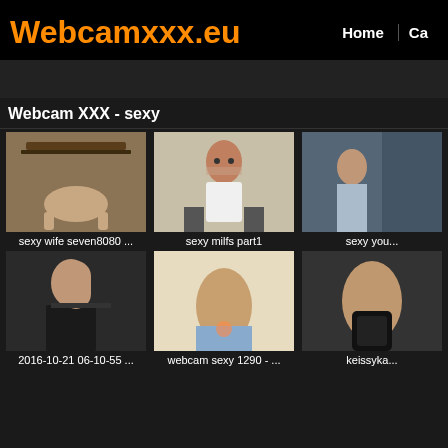Webcamxxx.eu
Home | Ca...
Webcam XXX - sexy
[Figure (photo): Thumbnail image 1 - woman under table]
sexy wife seven8080 ...
[Figure (photo): Thumbnail image 2 - woman with glasses]
sexy milfs part1
[Figure (photo): Thumbnail image 3 - partially visible]
sexy you...
[Figure (photo): Thumbnail image 4 - woman dark hair]
2016-10-21 06-10-55 ...
[Figure (photo): Thumbnail image 5 - woman from behind]
webcam sexy 1290 - ...
[Figure (photo): Thumbnail image 6 - partial view]
keissyka...